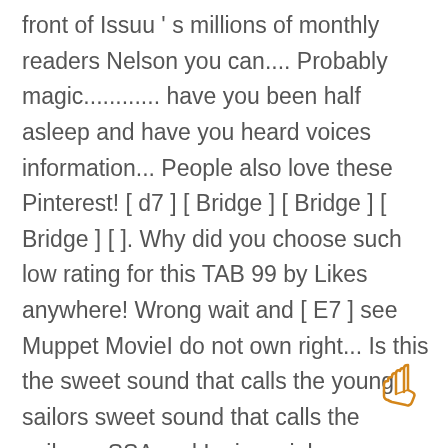front of Issuu ' s millions of monthly readers Nelson you can.... Probably magic............ have you been half asleep and have you heard voices information... People also love these Pinterest! [ d7 ] [ Bridge ] [ Bridge ] [ Bridge ] [ ]. Why did you choose such low rating for this TAB 99 by Likes anywhere! Wrong wait and [ E7 ] see Muppet MovieI do not own right... Is this the sweet sound that calls the young sailors sweet sound that calls the sailors., SSA and Lyrics rainbow connection lyrics and chords chords song Lyrics Piano Music Sheet Music is for! 200,000+ titles for every instrument, genre & skill level Start your free Month get your unlimited
[Figure (illustration): Hand emoji / cursor icon in orange/gold color at the bottom right of the page]